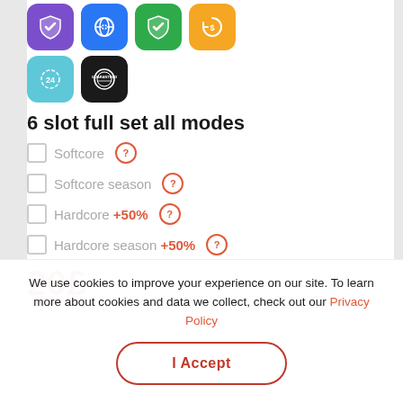[Figure (illustration): Six colored icon boxes: purple shield-check, blue globe-lock, green shield-check, orange dollar-refresh, cyan 24h clock, black guaranteed stamp]
6 slot full set all modes
Softcore ?
Softcore season ?
Hardcore +50% ?
Hardcore season +50% ?
20£
We use cookies to improve your experience on our site. To learn more about cookies and data we collect, check out our Privacy Policy
I Accept